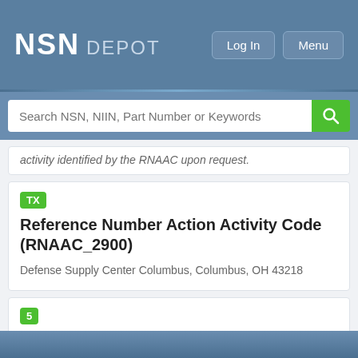NSN DEPOT
activity identified by the RNAAC upon request.
Reference Number Action Activity Code (RNAAC_2900)
Defense Supply Center Columbus, Columbus, OH 43218
Reference Number Category Code (RNCC_2910)